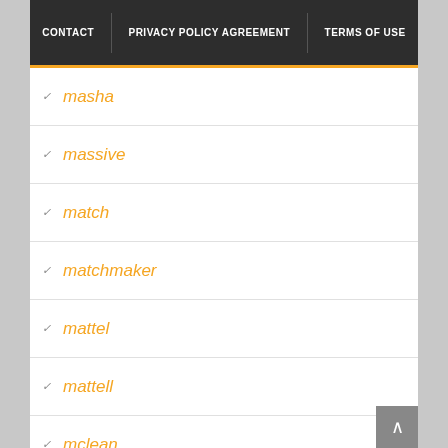CONTACT | PRIVACY POLICY AGREEMENT | TERMS OF USE
masha
massive
match
matchmaker
mattel
mattell
mclean
mcstuffins
medicom
meet
megara
merida
mermaid